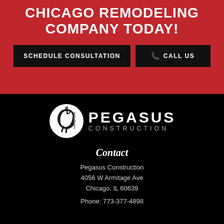CHICAGO REMODELING COMPANY TODAY!
SCHEDULE CONSULTATION
CALL US
[Figure (logo): Pegasus Construction logo: white winged horse silhouette inside a circle on left, with PEGASUS in large white caps and CONSTRUCTION in spaced grey caps on right]
Contact
Pegasus Construction
4056 W Armitage Ave
Chicago, IL 60639
Phone: 773-377-4898